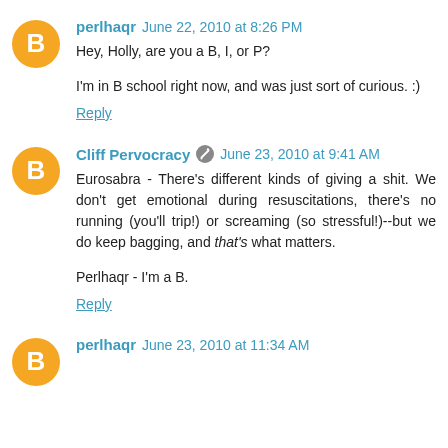perlhaqr  June 22, 2010 at 8:26 PM
Hey, Holly, are you a B, I, or P?
I'm in B school right now, and was just sort of curious. :)
Reply
Cliff Pervocracy  June 23, 2010 at 9:41 AM
Eurosabra - There's different kinds of giving a shit. We don't get emotional during resuscitations, there's no running (you'll trip!) or screaming (so stressful!)--but we do keep bagging, and that's what matters.
Perlhaqr - I'm a B.
Reply
perlhaqr  June 23, 2010 at 11:34 AM